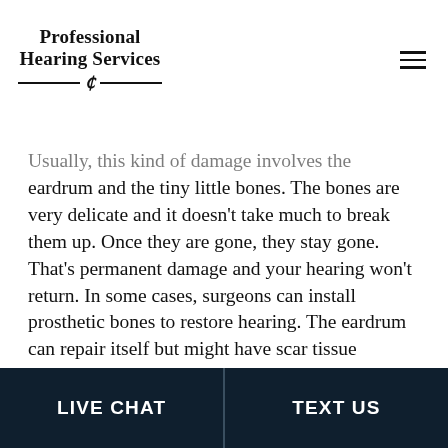Professional Hearing Services
Usually, this kind of damage involves the eardrum and the tiny little bones. The bones are very delicate and it doesn't take much to break them up. Once they are gone, they stay gone. That's permanent damage and your hearing won't return. In some cases, surgeons can install prosthetic bones to restore hearing. The eardrum can repair itself but might have scar tissue affecting its ability to move. Surgery can fix that, as well.
LIVE CHAT   TEXT US